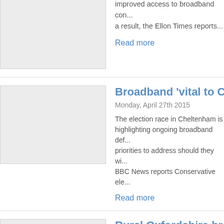[Figure (photo): Placeholder image for first article (partially visible at top)]
improved access to broadband con... a result, the Ellon Times reports...
Read more
[Figure (photo): Placeholder image for Broadband vital to Cheltenham article]
Broadband 'vital to Che...
Monday, April 27th 2015
The election race in Cheltenham is highlighting ongoing broadband def... priorities to address should they wi... BBC News reports Conservative ele...
Read more
[Figure (photo): Placeholder image for Rural Oxfordshire broadband article]
Rural Oxfordshire broa...
Friday, April 24th 2015
Homes and businesses in rural Oxf...